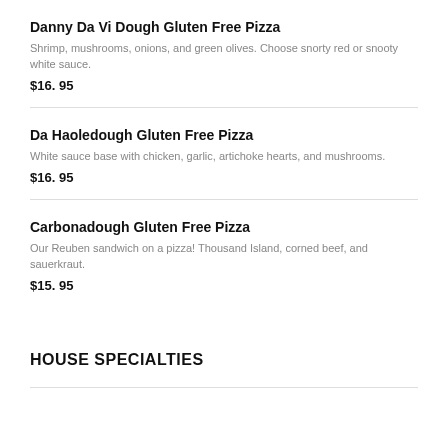Danny Da Vi Dough Gluten Free Pizza
Shrimp, mushrooms, onions, and green olives. Choose snorty red or snooty white sauce.
$16. 95
Da Haoledough Gluten Free Pizza
White sauce base with chicken, garlic, artichoke hearts, and mushrooms.
$16. 95
Carbonadough Gluten Free Pizza
Our Reuben sandwich on a pizza! Thousand Island, corned beef, and sauerkraut.
$15. 95
HOUSE SPECIALTIES